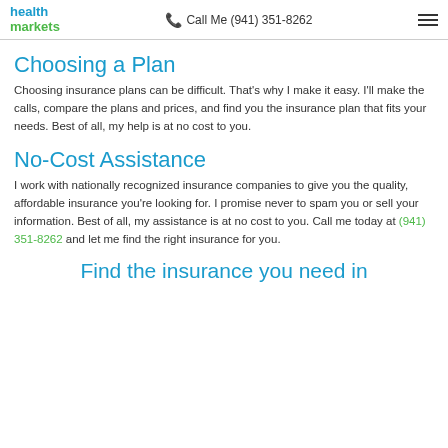health markets | Call Me (941) 351-8262
Choosing a Plan
Choosing insurance plans can be difficult. That's why I make it easy. I'll make the calls, compare the plans and prices, and find you the insurance plan that fits your needs. Best of all, my help is at no cost to you.
No-Cost Assistance
I work with nationally recognized insurance companies to give you the quality, affordable insurance you're looking for. I promise never to spam you or sell your information. Best of all, my assistance is at no cost to you. Call me today at (941) 351-8262 and let me find the right insurance for you.
Find the insurance you need in